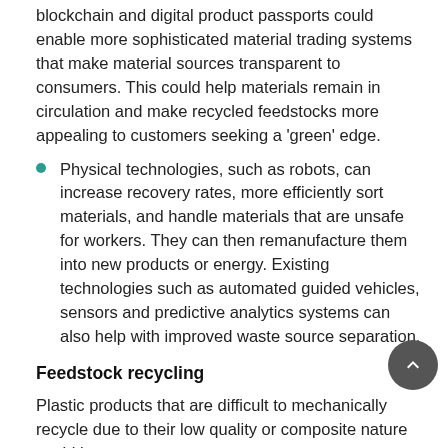blockchain and digital product passports could enable more sophisticated material trading systems that make material sources transparent to consumers. This could help materials remain in circulation and make recycled feedstocks more appealing to customers seeking a 'green' edge.
Physical technologies, such as robots, can increase recovery rates, more efficiently sort materials, and handle materials that are unsafe for workers. They can then remanufacture them into new products or energy. Existing technologies such as automated guided vehicles, sensors and predictive analytics systems can also help with improved waste source separation.
Feedstock recycling
Plastic products that are difficult to mechanically recycle due to their low quality or composite nature could be